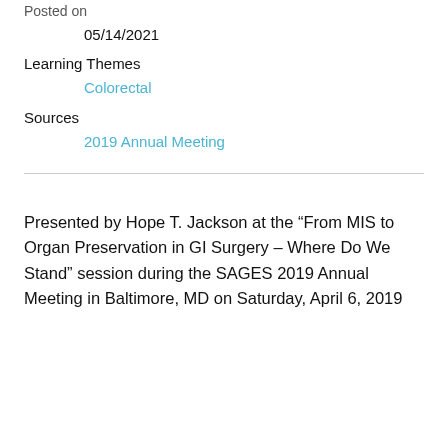Posted on
05/14/2021
Learning Themes
Colorectal
Sources
2019 Annual Meeting
Presented by Hope T. Jackson at the “From MIS to Organ Preservation in GI Surgery – Where Do We Stand” session during the SAGES 2019 Annual Meeting in Baltimore, MD on Saturday, April 6, 2019